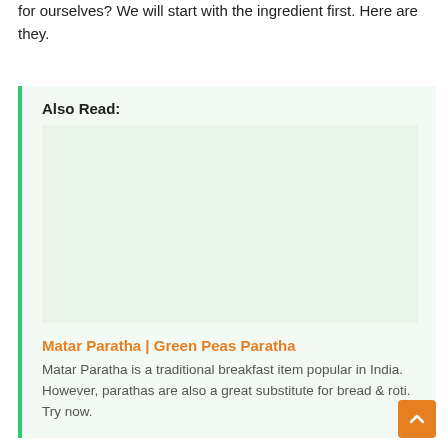for ourselves? We will start with the ingredient first. Here are they.
Also Read:
[Figure (photo): Image placeholder for Matar Paratha article]
Matar Paratha | Green Peas Paratha
Matar Paratha is a traditional breakfast item popular in India. However, parathas are also a great substitute for bread & roti. Try now.